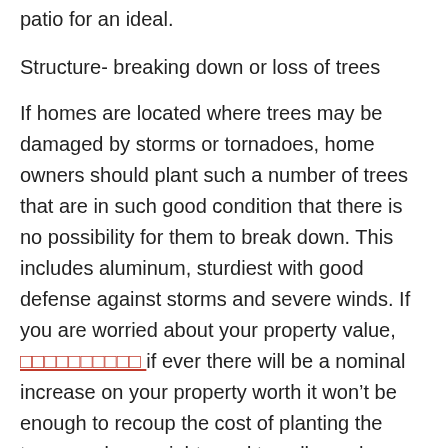patio for an ideal.
Structure- breaking down or loss of trees
If homes are located where trees may be damaged by storms or tornadoes, home owners should plant such a number of trees that are in such good condition that there is no possibility for them to break down. This includes aluminum, sturdiest with good defense against storms and severe winds. If you are worried about your property value, [link] if ever there will be a nominal increase on your property worth it won’t be enough to recoup the cost of planting the trees, and you might need to sell your house to get the money back. If your area experiences hurricanes frequently, a small tree can be recommended.
P...